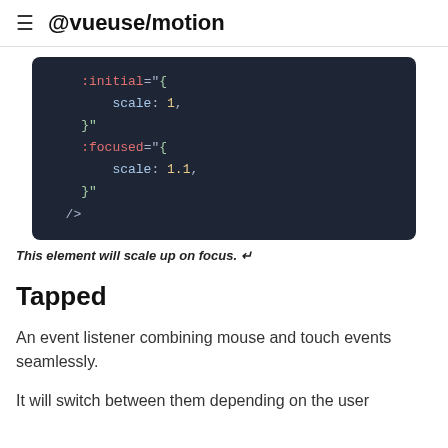@vueuse/motion
[Figure (screenshot): Dark-themed code block showing Vue template attributes: :initial="{ scale: 1, }" :focused="{ scale: 1.1, }" />]
This element will scale up on focus.
Tapped
An event listener combining mouse and touch events seamlessly.
It will switch between them depending on the user